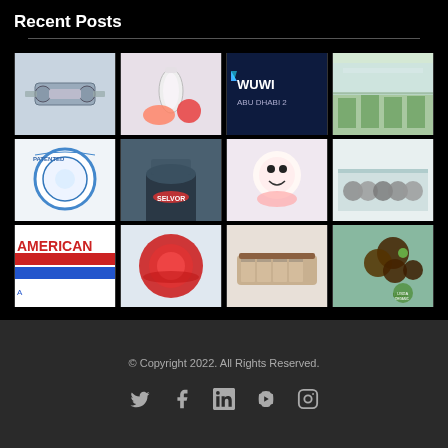Recent Posts
[Figure (photo): Grid of 12 recent post thumbnail images showing various products and events including machinery, food items, WUWEI Abu Dhabi logo, greenhouse, patented device, person holding items, decorated food, group photo, Americana logo, red bowl, chocolate cookies, and organic dates]
© Copyright 2022. All Rights Reserved.